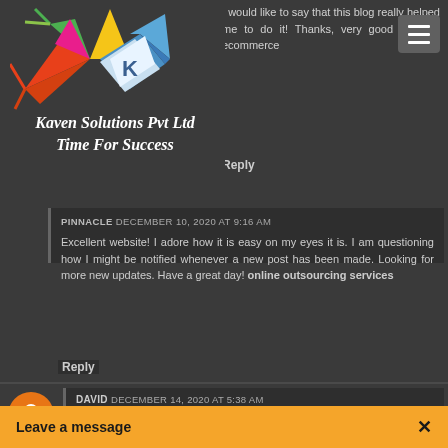[Figure (logo): Kaven Solutions Pvt Ltd logo with colorful star/diamond shape and text 'Kaven Solutions Pvt Ltd Time For Success']
I would like to say that this blog really helped me to do it! Thanks, very good are sito ecommerce
Reply
PINNACLE  DECEMBER 10, 2020 AT 9:16 AM
Excellent website! I adore how it is easy on my eyes it is. I am questioning how I might be notified whenever a new post has been made. Looking for more new updates. Have a great day! online outsourcing services
Reply
DAVID  DECEMBER 14, 2020 AT 5:38 AM
There are many different types of web hosting offers, but the main three are shared, reseller, and dedicated. Each type of hosting is for a ...
Leave a message